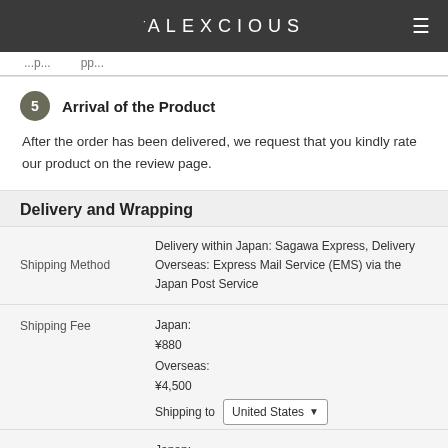· ALEXCIOUS
...p...pp...
5 Arrival of the Product
After the order has been delivered, we request that you kindly rate our product on the review page.
Delivery and Wrapping
|  |  |
| --- | --- |
| Shipping Method | Delivery within Japan: Sagawa Express, Delivery Overseas: Express Mail Service (EMS) via the Japan Post Service |
| Shipping Fee | Japan:
¥880
Overseas:
¥4,500
Shipping to  [United States ▼] |
|  | Japan:
Domestic delivery usually takes 1-3 days after order is shipped. |